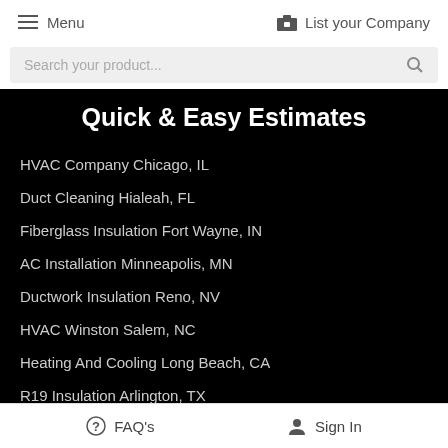Menu   List your Company
Search your product...
Quick & Easy Estimates
HVAC Company Chicago, IL
Duct Cleaning Hialeah, FL
Fiberglass Insulation Fort Wayne, IN
AC Installation Minneapolis, MN
Ductwork Insulation Reno, NV
HVAC Winston Salem, NC
Heating And Cooling Long Beach, CA
R19 Insulation Arlington, TX
FAQ's   Sign In